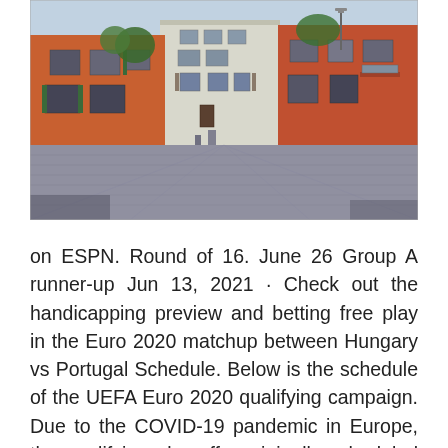[Figure (photo): A photograph of a quiet European alleyway or piazza with historic brick and plaster buildings, cobblestone pavement, and some green trees/plants visible. The scene appears to be in Venice or a similar Italian city.]
on ESPN. Round of 16. June 26 Group A runner-up Jun 13, 2021 · Check out the handicapping preview and betting free play in the Euro 2020 matchup between Hungary vs Portugal Schedule. Below is the schedule of the UEFA Euro 2020 qualifying campaign. Due to the COVID-19 pandemic in Europe, the qualifying play-offs, originally scheduled for 26 and 31 March 2020, were postponed by UEFA on 17 March 2020. Afterwards,